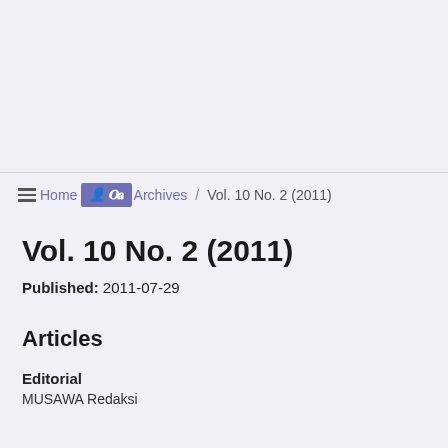Home / Archives / Vol. 10 No. 2 (2011)
Vol. 10 No. 2 (2011)
Published: 2011-07-29
Articles
Editorial
MUSAWA Redaksi